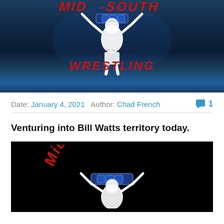[Figure (logo): Mid-South Wrestling logo on dark blue gradient background. Features a wrestler figure holding a championship belt overhead, with 'MID-SOUTH' text in red above and 'WRESTLING' in red below.]
Date: January 4, 2021  Author: Chad French  💬 1
Venturing into Bill Watts territory today.
[Figure (logo): Mid-South Wrestling logo on black background. Features red 'MidSouth' text in arc at top, a championship belt icon, and a wrestler figure raising hands overhead.]